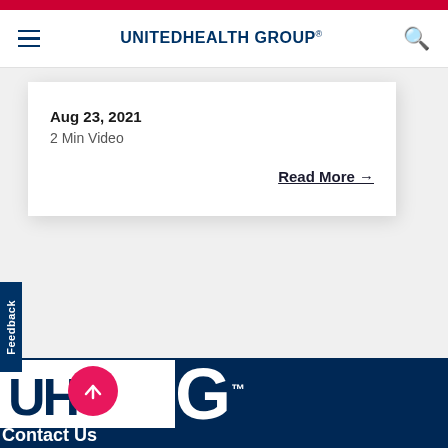UnitedHealth Group
Aug 23, 2021
2 Min Video
Read More →
[Figure (logo): UnitedHealth Group logo partial (G) visible in dark blue footer with white rectangle]
Contact Us